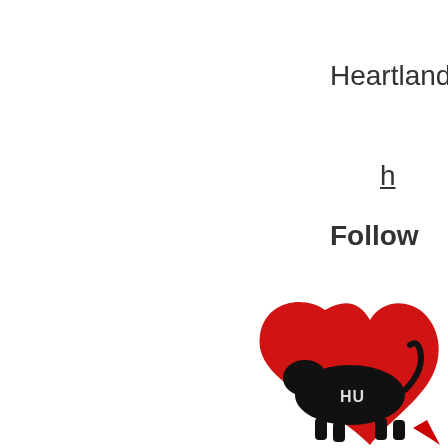Heartland
h
Follow
[Figure (logo): Heartland logo featuring a black silhouette of a lion/animal with a red heart-shaped swoosh around it and white letters 'HU' on the animal body]